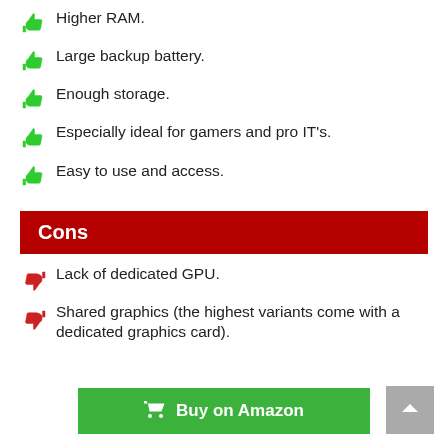Higher RAM.
Large backup battery.
Enough storage.
Especially ideal for gamers and pro IT's.
Easy to use and access.
Cons
Lack of dedicated GPU.
Shared graphics (the highest variants come with a dedicated graphics card).